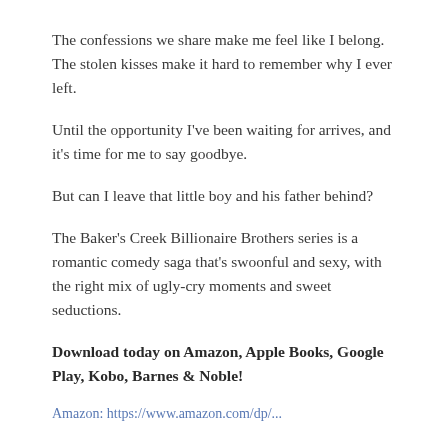The confessions we share make me feel like I belong. The stolen kisses make it hard to remember why I ever left.
Until the opportunity I've been waiting for arrives, and it's time for me to say goodbye.
But can I leave that little boy and his father behind?
The Baker's Creek Billionaire Brothers series is a romantic comedy saga that's swoonful and sexy, with the right mix of ugly-cry moments and sweet seductions.
Download today on Amazon, Apple Books, Google Play, Kobo, Barnes & Noble!
Amazon: https://...